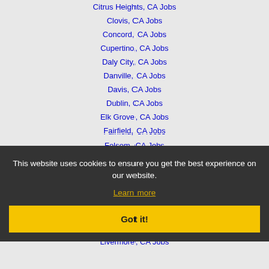Citrus Heights, CA Jobs
Clovis, CA Jobs
Concord, CA Jobs
Cupertino, CA Jobs
Daly City, CA Jobs
Danville, CA Jobs
Davis, CA Jobs
Dublin, CA Jobs
Elk Grove, CA Jobs
Fairfield, CA Jobs
Folsom, CA Jobs
Fremont, CA Jobs
Fresno, CA Jobs
Gilroy, CA Jobs
Hayward, CA Jobs
Laguna, CA Jobs
Lincoln, CA Jobs
Livermore, CA Jobs
This website uses cookies to ensure you get the best experience on our website.
Learn more
Got it!